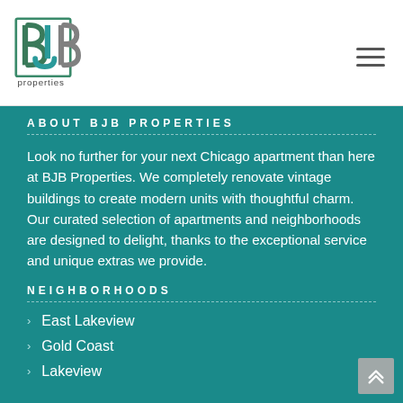[Figure (logo): BJB Properties logo — stylized 'BJB' letters in teal/green/grey with 'properties' text below]
ABOUT BJB PROPERTIES
Look no further for your next Chicago apartment than here at BJB Properties. We completely renovate vintage buildings to create modern units with thoughtful charm. Our curated selection of apartments and neighborhoods are designed to delight, thanks to the exceptional service and unique extras we provide.
NEIGHBORHOODS
East Lakeview
Gold Coast
Lakeview